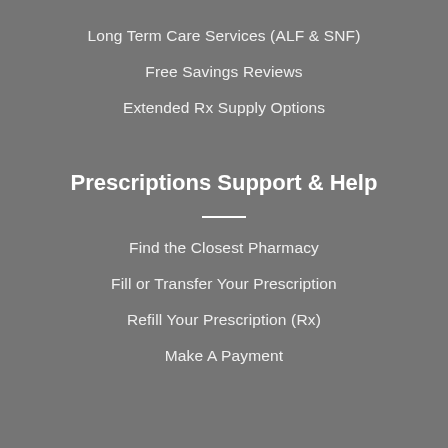Long Term Care Services (ALF & SNF)
Free Savings Reviews
Extended Rx Supply Options
Prescriptions Support & Help
Find the Closest Pharmacy
Fill or Transfer Your Prescription
Refill Your Prescription (Rx)
Make A Payment